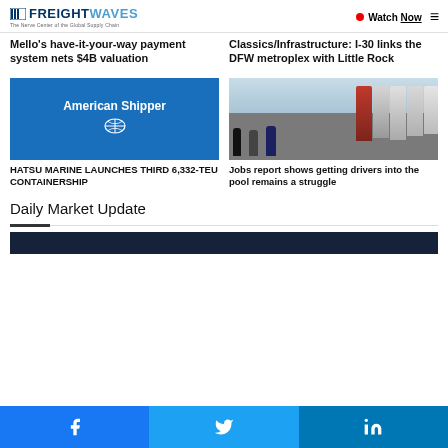FREIGHTWAVES - The Nerve Center of the Global Supply Chain | Watch Now
Mello's have-it-your-way payment system nets $4B valuation
Classics/Infrastructure: I-30 links the DFW metroplex with Little Rock
[Figure (logo): American Shipper blue logo card]
[Figure (photo): Workers walking toward a row of parked trucks]
HATSU MARINE LAUNCHES THIRD 6,332-TEU CONTAINERSHIP
Jobs report shows getting drivers into the pool remains a struggle
Daily Market Update